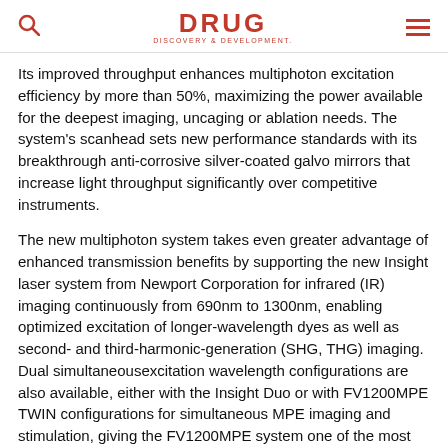DRUG DISCOVERY & DEVELOPMENT
Its improved throughput enhances multiphoton excitation efficiency by more than 50%, maximizing the power available for the deepest imaging, uncaging or ablation needs. The system's scanhead sets new performance standards with its breakthrough anti-corrosive silver-coated galvo mirrors that increase light throughput significantly over competitive instruments.
The new multiphoton system takes even greater advantage of enhanced transmission benefits by supporting the new Insight laser system from Newport Corporation for infrared (IR) imaging continuously from 690nm to 1300nm, enabling optimized excitation of longer-wavelength dyes as well as second- and third-harmonic-generation (SHG, THG) imaging. Dual simultaneousexcitation wavelength configurations are also available, either with the Insight Duo or with FV1200MPE TWIN configurations for simultaneous MPE imaging and stimulation, giving the FV1200MPE system one of the most robust and customizable sets of configurations available.